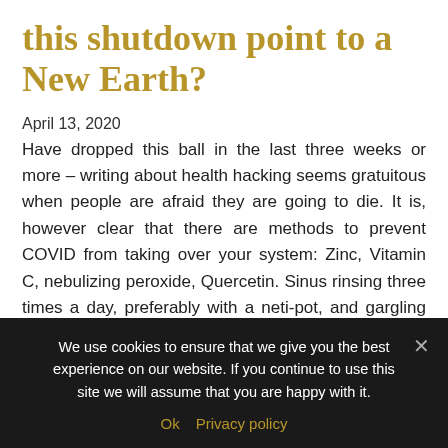this shutdown point to a New Earth?
April 13, 2020
Have dropped this ball in the last three weeks or more – writing about health hacking seems gratuitous when people are afraid they are going to die. It is, however clear that there are methods to prevent COVID from taking over your system: Zinc, Vitamin C, nebulizing peroxide, Quercetin. Sinus rinsing three times a day, preferably with a neti-pot, and gargling Listerine three times a day will dilute the viral load if it is in …
Read more
We use cookies to ensure that we give you the best experience on our website. If you continue to use this site we will assume that you are happy with it.
Ok  Privacy policy